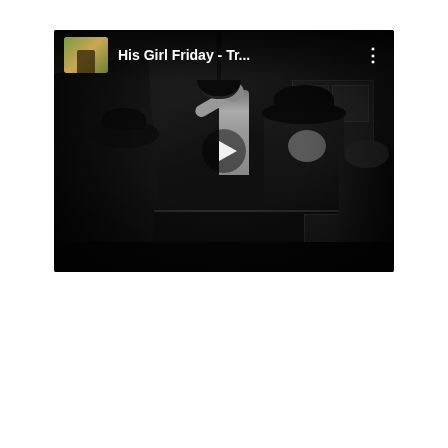[Figure (screenshot): YouTube video thumbnail for 'His Girl Friday - Tr...' showing a black and white film scene with people in a press room. A play button is visible in the center. The top bar shows a small color thumbnail, the video title 'His Girl Friday - Tr...' in white text, and a three-dot menu icon.]